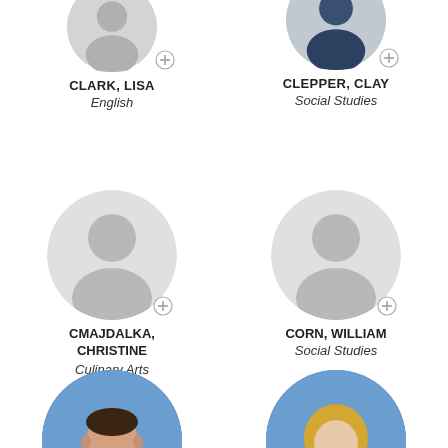[Figure (photo): Partial photo of Lisa Clark, cropped at top]
CLARK, LISA
English
[Figure (photo): Partial photo of Clay Clepper, cropped at top]
CLEPPER, CLAY
Social Studies
[Figure (photo): Placeholder silhouette avatar for Cmajdalka, Christine]
CMAJDALKA, CHRISTINE
Culinary Arts
[Figure (photo): Placeholder silhouette avatar for Corn, William]
CORN, WILLIAM
Social Studies
[Figure (photo): Photo of male faculty member in maroon shirt against blue background, cropped]
[Figure (photo): Photo of female faculty member with blonde hair against blue background, cropped]